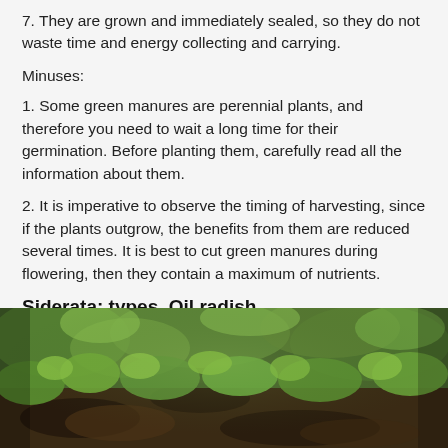7. They are grown and immediately sealed, so they do not waste time and energy collecting and carrying.
Minuses:
1. Some green manures are perennial plants, and therefore you need to wait a long time for their germination. Before planting them, carefully read all the information about them.
2. It is imperative to observe the timing of harvesting, since if the plants outgrow, the benefits from them are reduced several times. It is best to cut green manures during flowering, then they contain a maximum of nutrients.
Siderata: types. Oil radish
[Figure (photo): Close-up photo of green plant seedlings/sprouts growing in dark soil, with blurred background showing more green plants.]